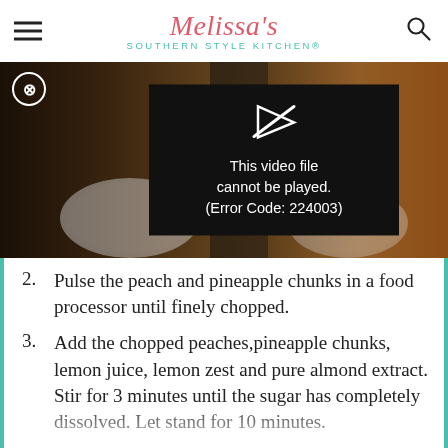Melissa's Southern Style Kitchen®
[Figure (screenshot): Video player error screen with X close button and error message: 'This video file cannot be played. (Error Code: 224003)']
2. Pulse the peach and pineapple chunks in a food processor until finely chopped.
3. Add the chopped peaches,pineapple chunks, lemon juice, lemon zest and pure almond extract. Stir for 3 minutes until the sugar has completely dissolved. Let stand for 10 minutes.
4. Ladle into the clean jars or plastic containers